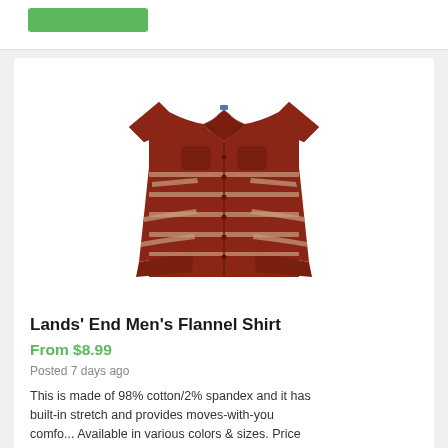[Figure (other): Green button/banner partially visible at top of page]
[Figure (photo): Lands End Men's Flannel Shirt in dark red/rust color with horizontal light-colored stripes, long sleeve button-down style]
Lands' End Men's Flannel Shirt
From $8.99
Posted 7 days ago
This is made of 98% cotton/2% spandex and it has built-in stretch and provides moves-with-you comfo... Available in various colors & sizes. Price starting from